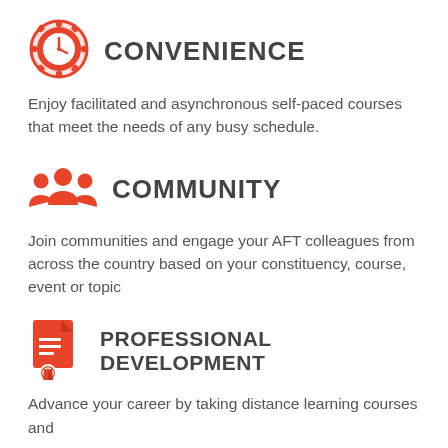[Figure (illustration): Orange clock/gear icon representing Convenience]
CONVENIENCE
Enjoy facilitated and asynchronous self-paced courses that meet the needs of any busy schedule.
[Figure (illustration): Orange group of people icon representing Community]
COMMUNITY
Join communities and engage your AFT colleagues from across the country based on your constituency, course, event or topic
[Figure (illustration): Orange document/certificate icon representing Professional Development]
PROFESSIONAL DEVELOPMENT
Advance your career by taking distance learning courses and receiving certificates for your accomplishments.